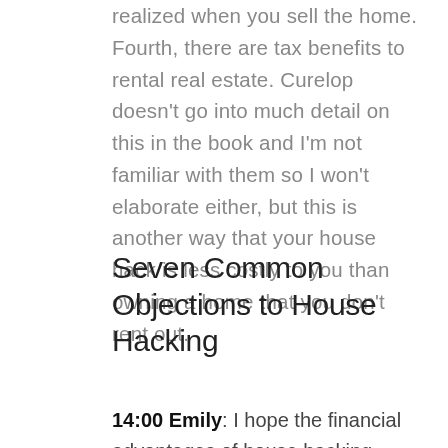realized when you sell the home. Fourth, there are tax benefits to rental real estate. Curelop doesn't go into much detail on this in the book and I'm not familiar with them so I won't elaborate either, but this is another way that your house hack is less costly to you than owning a home that you don't rent out.
Seven Common Objections to House Hacking
14:00 Emily: I hope the financial advantages of house hacking have